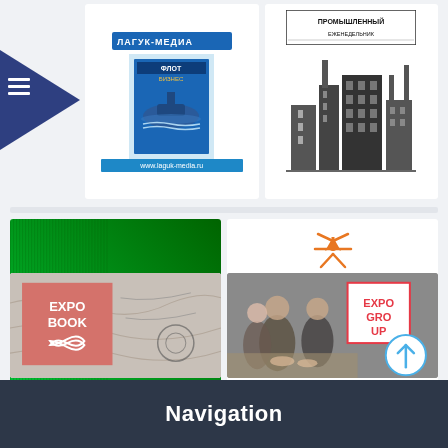[Figure (screenshot): Laguk Media magazine advertisement card with logo, submarine magazine cover, and website URL www.laguk-media.ru on blue background]
[Figure (illustration): Industrial weekly newspaper header with black-and-white illustration of factory buildings and smokestacks, Cyrillic text промышленный еженедельник]
[Figure (illustration): Solid green gradient rectangle, dark to bright green from top to bottom-left]
[Figure (logo): Expomap logo with orange arrows/star icon, bold Expomap text, and Cyrillic subtitle поисковик деловых, bordered rectangle]
[Figure (screenshot): Expo Book cover with pink/salmon box on marble background showing EXPO BOOK text and infinity symbol]
[Figure (screenshot): EXPO GROUP promotional image with photo of business meeting, red-bordered label with EXPO GROUP text, and scroll-to-top circle button with up arrow]
Navigation